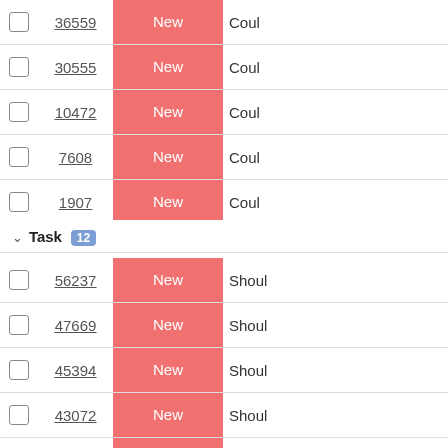|  | ID | Status | Description |
| --- | --- | --- | --- |
|  | 36559 | New | Coul |
|  | 30555 | New | Coul |
|  | 10472 | New | Coul |
|  | 7608 | New | Coul |
|  | 1907 | New | Coul |
Task 12
|  | ID | Status | Description |
| --- | --- | --- | --- |
|  | 56237 | New | Shoul |
|  | 47669 | New | Shoul |
|  | 45394 | New | Shoul |
|  | 43072 | New | Shoul |
|  | 43071 | New | Shoul |
|  | 42743 | New | Shoul |
|  | 32035 | New | Shoul |
|  | 10911 | New | Shoul |
|  | 9950 | New | Shoul |
|  | 34309 | New | Coul |